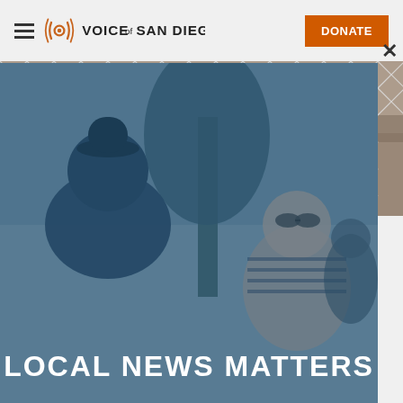Voice of San Diego — DONATE
[Figure (photo): Chain-link fence with a dirt area and a vehicle visible in the background]
VOSD Podcast: Another City
[Figure (photo): Two people talking outdoors near a tree, with a blue tint overlay. Modal popup over the article. Text reads LOCAL NEWS MATTERS.]